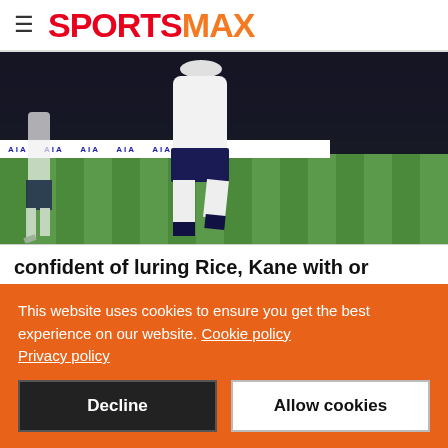SPORTSMAX
[Figure (photo): Football player in white Tottenham Hotspur kit running on pitch at stadium, with AIA advertising boards visible]
confident of luring Rice, Kane with or without Champions League
February 24, 2022
Even if not quite there from the start, Manchester United...
This website uses cookies to ensure you get the best experience on our website. Cookie policy Privacy policy
Decline
Allow cookies